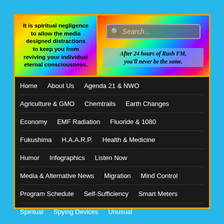[Figure (infographic): Left panel with colorful gradient background containing motivational text about spiritual negligence and media distractions]
It is spiritual negligence to allow the media designed distractions to keep you from reviving your individual eternal consciousness.
[Figure (infographic): Right panel with colorful radial burst background containing a search box and Rush FM tagline]
After 24 hours of Rush FM, you'll never be the same.
Home
About Us
Agenda 21 & NWO
Agriculture & GMO
Chemtrails
Earth Changes
Economy
EMF Radiation
Fluoride & 1080
Fukushima
H.A.A.R.P.
Health & Medicine
Humor
Infographics
Listen Now
Media & Alternative News
Migration
Mind Control
Program Schedule
Self-Sufficiency
Smart Meters
Spiritual
Spying Devices
Unusual